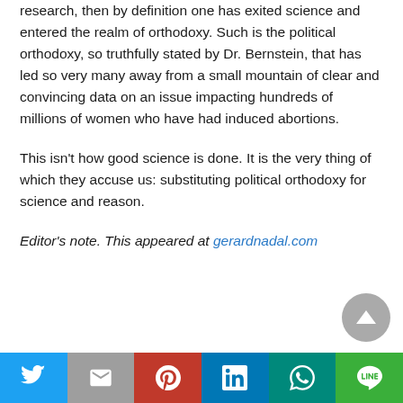research, then by definition one has exited science and entered the realm of orthodoxy. Such is the political orthodoxy, so truthfully stated by Dr. Bernstein, that has led so very many away from a small mountain of clear and convincing data on an issue impacting hundreds of millions of women who have had induced abortions.
This isn't how good science is done. It is the very thing of which they accuse us: substituting political orthodoxy for science and reason.
Editor's note. This appeared at gerardnadal.com